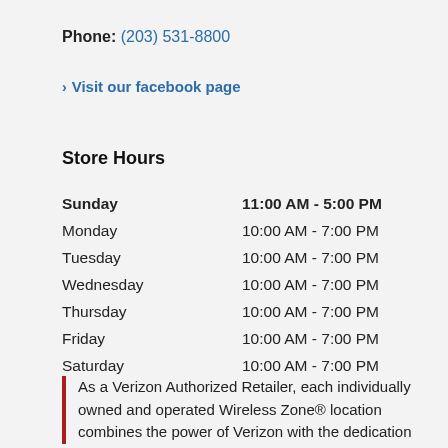Phone: (203) 531-8800
> Visit our facebook page
Store Hours
| Day | Hours |
| --- | --- |
| Sunday | 11:00 AM - 5:00 PM |
| Monday | 10:00 AM - 7:00 PM |
| Tuesday | 10:00 AM - 7:00 PM |
| Wednesday | 10:00 AM - 7:00 PM |
| Thursday | 10:00 AM - 7:00 PM |
| Friday | 10:00 AM - 7:00 PM |
| Saturday | 10:00 AM - 7:00 PM |
As a Verizon Authorized Retailer, each individually owned and operated Wireless Zone® location combines the power of Verizon with the dedication